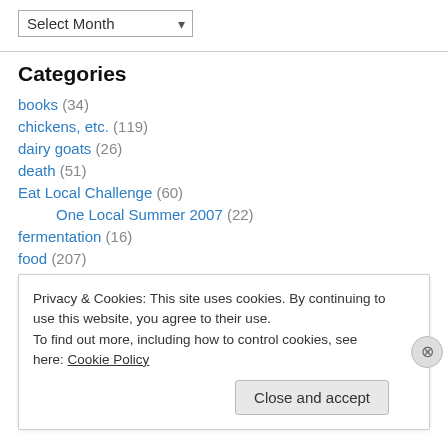Select Month (dropdown)
Categories
books (34)
chickens, etc. (119)
dairy goats (26)
death (51)
Eat Local Challenge (60)
One Local Summer 2007 (22)
fermentation (16)
food (207)
Privacy & Cookies: This site uses cookies. By continuing to use this website, you agree to their use. To find out more, including how to control cookies, see here: Cookie Policy
Close and accept